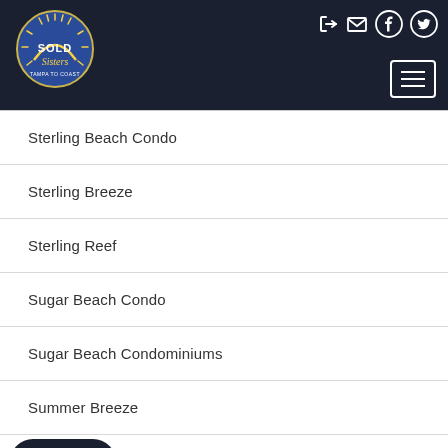Sold Sisters — navigation header with logo and social icons
Sterling Beach Condo
Sterling Breeze
Sterling Reef
Sugar Beach Condo
Sugar Beach Condominiums
Summer Breeze
...eeze Ph 2
Summer Breeze Phase II